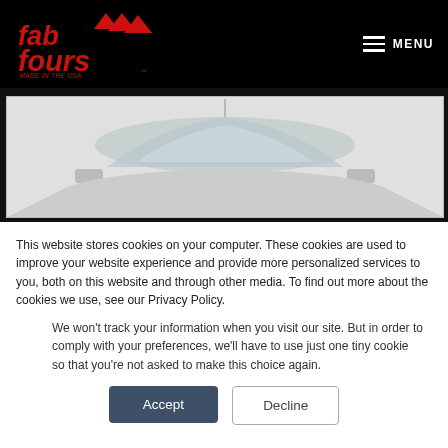[Figure (logo): Fab Fours logo in red with mountain peaks, text 'MADE IN THE USA' on black header bar]
[Figure (photo): Partial view of a vehicle (truck/SUV) showing the roof and upper windshield area, on a light gray background]
This website stores cookies on your computer. These cookies are used to improve your website experience and provide more personalized services to you, both on this website and through other media. To find out more about the cookies we use, see our Privacy Policy.
We won't track your information when you visit our site. But in order to comply with your preferences, we'll have to use just one tiny cookie so that you're not asked to make this choice again.
Accept
Decline